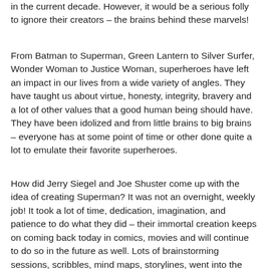in the current decade. However, it would be a serious folly to ignore their creators – the brains behind these marvels!
From Batman to Superman, Green Lantern to Silver Surfer, Wonder Woman to Justice Woman, superheroes have left an impact in our lives from a wide variety of angles. They have taught us about virtue, honesty, integrity, bravery and a lot of other values that a good human being should have. They have been idolized and from little brains to big brains – everyone has at some point of time or other done quite a lot to emulate their favorite superheroes.
How did Jerry Siegel and Joe Shuster come up with the idea of creating Superman? It was not an overnight, weekly job! It took a lot of time, dedication, imagination, and patience to do what they did – their immortal creation keeps on coming back today in comics, movies and will continue to do so in the future as well. Lots of brainstorming sessions, scribbles, mind maps, storylines, went into the late nights that both Jerry Siegel and Joe Shuster put in. Simply, speaking whether it be Superman, Batman, or any other superhero, the role of the creator is essential simply because he himself